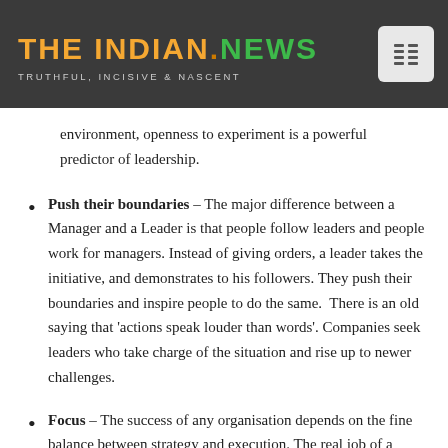THE INDIAN.NEWS — TRUTHFUL, INCISIVE & NASCENT
environment, openness to experiment is a powerful predictor of leadership.
Push their boundaries – The major difference between a Manager and a Leader is that people follow leaders and people work for managers. Instead of giving orders, a leader takes the initiative, and demonstrates to his followers. They push their boundaries and inspire people to do the same. There is an old saying that 'actions speak louder than words'. Companies seek leaders who take charge of the situation and rise up to newer challenges.
Focus – The success of any organisation depends on the fine balance between strategy and execution. The real job of a leader is not only to draft a strategy, but also to implement the plan with complete focus. Relentless focus